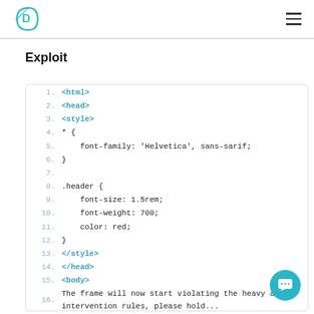D (logo) / hamburger menu
Exploit
1. <html>
2. <head>
3. <style>
4. * {
5.     font-family: 'Helvetica', sans-sarif;
6. }
7.
8. .header {
9.     font-size: 1.5rem;
10.     font-weight: 700;
11.     color: red;
12. }
13. </style>
14. </head>
15. <body>
16. The frame will now start violating the heavy ad intervention rules, please hold...
17. <p class="header">DO NOT CLICK THIS FRAME!